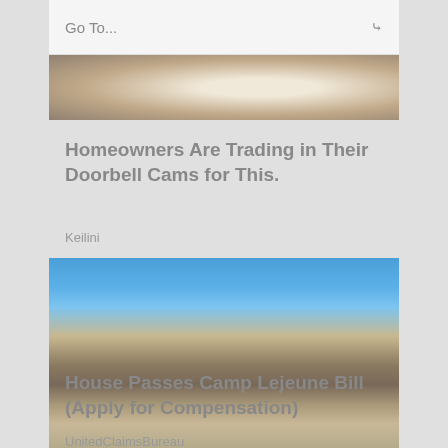Go To...
[Figure (photo): Partially visible top image, appears to show a circular object, cropped]
Homeowners Are Trading in Their Doorbell Cams for This.
Keilini
[Figure (photo): A soldier in camouflage gear drinking or pouring water from a hose outdoors near a body of water with vehicles in the background]
House Passes Camp Lejeune Bill (Apply for Compensation)
UnitedClaimsBureau